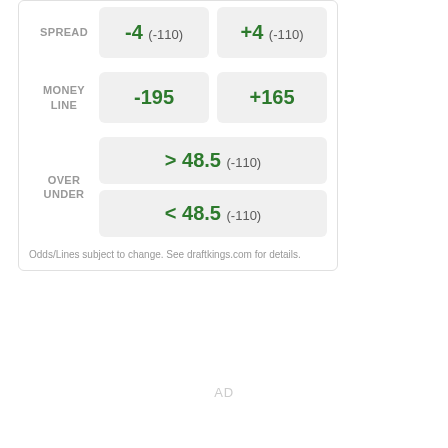|  | Home | Away |
| --- | --- | --- |
| SPREAD | -4  (-110) | +4  (-110) |
| MONEY LINE | -195 | +165 |
| OVER UNDER | > 48.5  (-110) | < 48.5  (-110) |
Odds/Lines subject to change. See draftkings.com for details.
AD